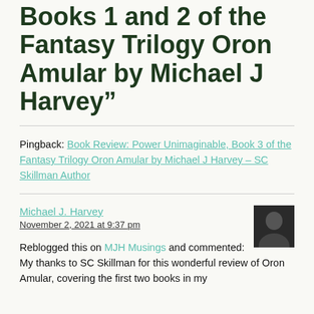Books 1 and 2 of the Fantasy Trilogy Oron Amular by Michael J Harvey"
Pingback: Book Review: Power Unimaginable, Book 3 of the Fantasy Trilogy Oron Amular by Michael J Harvey – SC Skillman Author
Michael J. Harvey
November 2, 2021 at 9:37 pm
Reblogged this on MJH Musings and commented:
My thanks to SC Skillman for this wonderful review of Oron Amular, covering the first two books in my